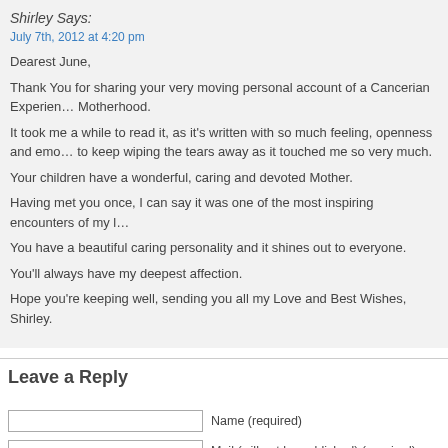Shirley Says:
July 7th, 2012 at 4:20 pm
Dearest June,
Thank You for sharing your very moving personal account of a Cancerian Experience of Motherhood.
It took me a while to read it, as it’s written with so much feeling, openness and emo… to keep wiping the tears away as it touched me so very much.
Your children have a wonderful, caring and devoted Mother.
Having met you once, I can say it was one of the most inspiring encounters of my l…
You have a beautiful caring personality and it shines out to everyone.
You’ll always have my deepest affection.
Hope you’re keeping well, sending you all my Love and Best Wishes, Shirley.
Leave a Reply
Name (required)
Mail (will not be published) (required)
Website